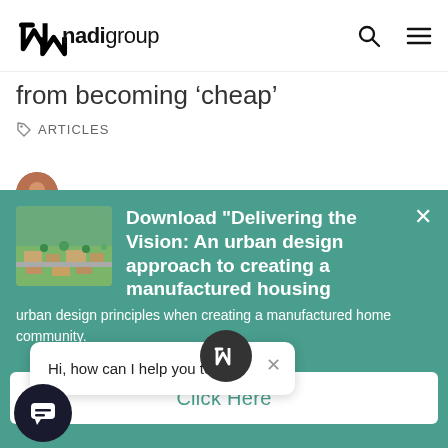[Figure (logo): Nadi Group logo with stylized N icon and text 'nadigroup']
from becoming ‘cheap’
ARTICLES
[Figure (screenshot): Teal/green promotional banner overlay: Download 'Delivering the Vision: An urban design approach to creating a manufactured housing' with thumbnail image of aerial view of housing community. Body text: urban design principles when creating a manufactured home community. Click Here button.]
[Figure (screenshot): Chat popup widget: 'Hi, how can I help you today?' with close X, Nadi badge icon, and chat bubble icon at bottom left.]